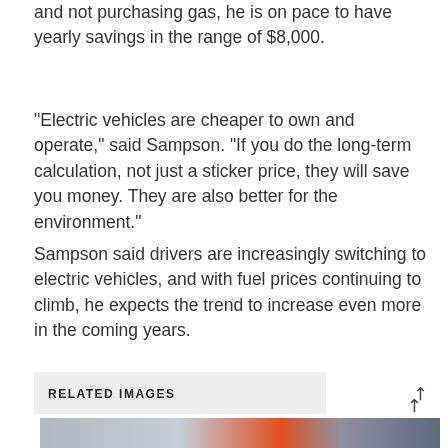and not purchasing gas, he is on pace to have yearly savings in the range of $8,000.
“Electric vehicles are cheaper to own and operate,” said Sampson. “If you do the long-term calculation, not just a sticker price, they will save you money. They are also better for the environment.”
Sampson said drivers are increasingly switching to electric vehicles, and with fuel prices continuing to climb, he expects the trend to increase even more in the coming years.
RELATED IMAGES
[Figure (photo): Photo of person holding a red fuel nozzle near a vehicle, charging or fueling scene]